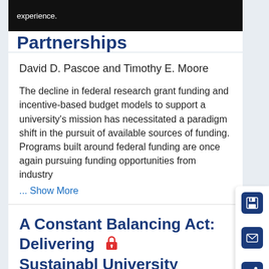experience.
Partnerships
David D. Pascoe and Timothy E. Moore
The decline in federal research grant funding and incentive-based budget models to support a university's mission has necessitated a paradigm shift in the pursuit of available sources of funding. Programs built around federal funding are once again pursuing funding opportunities from industry
... Show More
A Constant Balancing Act: Delivering Sustainabl University...